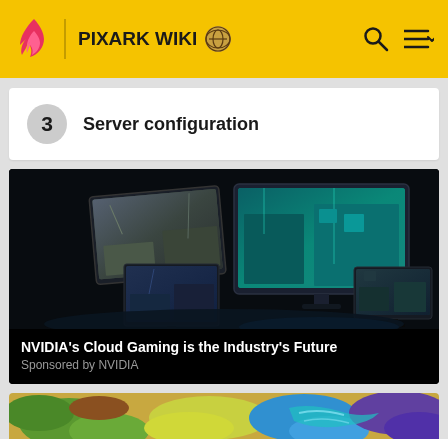PIXARK WIKI
3  Server configuration
[Figure (photo): Advertisement image showing multiple gaming monitors displaying games in a dark studio setting, promoting NVIDIA Cloud Gaming]
NVIDIA’s Cloud Gaming is the Industry’s Future
Sponsored by NVIDIA
[Figure (map): Colorful map showing terrain regions in yellow-green, brown, blue, and purple colors]